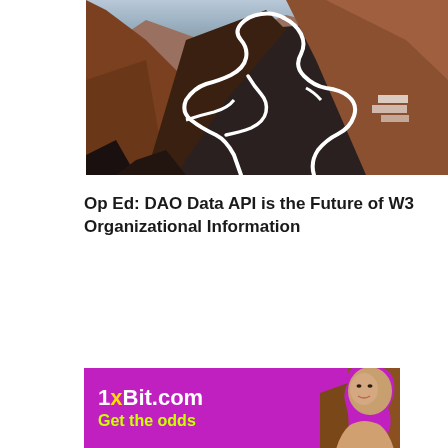[Figure (photo): Aerial photograph of a winding mountain road with switchbacks zigzagging up a steep hillside with reddish-brown terrain]
Op Ed: DAO Data API is the Future of W3 Organizational Information
[Figure (photo): Advertisement banner for 1xBit.com on a purple/magenta background showing '1xBit.com' in white bold text, 'Get the odds' in yellow-green text, and a woman's photo on the right side]